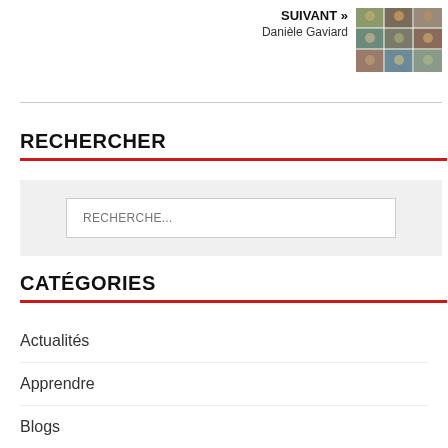SUIVANT » Danièle Gaviard
[Figure (photo): Mosaic/collage photo thumbnail showing multiple people]
RECHERCHER
RECHERCHE...
CATÉGORIES
Actualités
Apprendre
Blogs
Bridge et Société